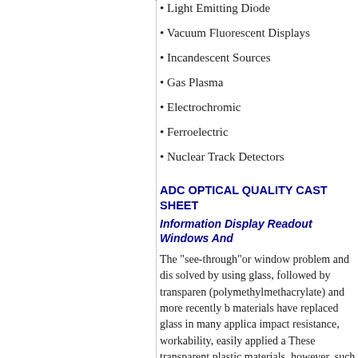Light Emitting Diode
Vacuum Fluorescent Displays
Incandescent Sources
Gas Plasma
Electrochromic
Ferroelectric
Nuclear Track Detectors
ADC OPTICAL QUALITY CAST SHEET
Information Display Readout Windows And
The "see-through"or window problem and dis solved by using glass, followed by transparen (polymethylmethacrylate) and more recently b materials have replaced glass in many applica impact resistance, workability, easily applied a These transparent plastic materials, however, such as:
Poor Chemical And Solvent Resistance